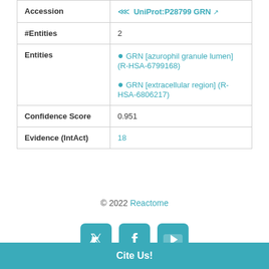| Accession | UniProt:P28799 GRN ↗ |
| #Entities | 2 |
| Entities | ● GRN [azurophil granule lumen] (R-HSA-6799168)
● GRN [extracellular region] (R-HSA-6806217) |
| Confidence Score | 0.951 |
| Evidence (IntAct) | 18 |
© 2022 Reactome
[Figure (other): Social media icon buttons: Twitter, Facebook, YouTube]
Cite Us!